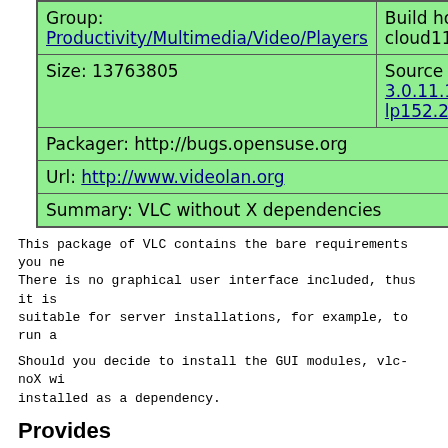| Group: Productivity/Multimedia/Video/Players | Build host: cloud115 |
| Size: 13763805 | Source RPM: vlc-3.0.11.1-lp152.2.6.1.src.rpm |
| Packager: http://bugs.opensuse.org |  |
| Url: http://www.videolan.org |  |
| Summary: VLC without X dependencies |  |
This package of VLC contains the bare requirements you ne There is no graphical user interface included, thus it is suitable for server installations, for example, to run a
Should you decide to install the GUI modules, vlc-noX wi installed as a dependency.
Provides
vlc-noX
liba52_plugin.so()(64bit)
libaccess_alsa_plugin.so()(64bit)
libaccess_export_plugin.so()(64bit)